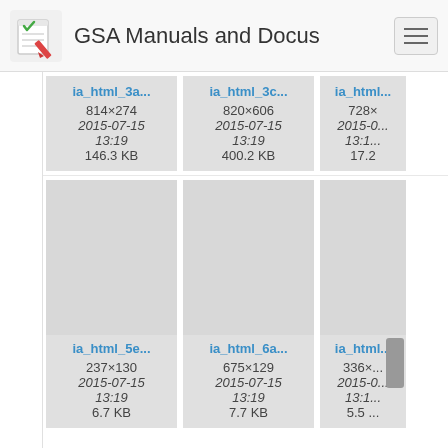GSA Manuals and Docus
[Figure (screenshot): Grid of image thumbnails showing GSA document files. Row 1: ia_html_3a... (814×274, 2015-07-15 13:19, 146.3 KB), ia_html_3c... (820×606, 2015-07-15 13:19, 400.2 KB), ia_html... (728×..., 2015-0... 13:1.., 17.2...). Row 2: ia_html_5e... (237×130, 2015-07-15 13:19, 6.7 KB), ia_html_6a... (675×129, 2015-07-15 13:19, 7.7 KB), ia_html... (336×..., 2015-0... 13:1..., 5.5...).]